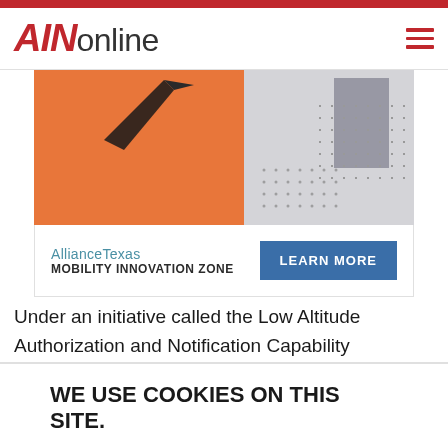AINonline
[Figure (illustration): AllianceTexas Mobility Innovation Zone advertisement banner with orange and grey graphic, drone/arrow imagery, grid dots pattern, and a Learn More button]
Under an initiative called the Low Altitude Authorization and Notification Capability (LAANC), the FAA has developed maps with pre-approved flight zones and
WE USE COOKIES ON THIS SITE.
This website, or its third party tools, use cookies to enhance your browsing experience. By using this site you agree to this use of cookies. Learn More
ACCEPT